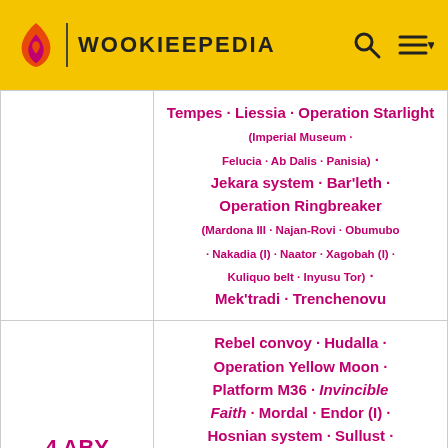WOOKIEEPEDIA
| Year | Events |
| --- | --- |
|  | Tempes · Liessia · Operation Starlight (Imperial Museum · Felucia · Ab Dalis · Panisia) · Jekara system · Bar'leth · Operation Ringbreaker (Mardona III · Najan-Rovi · Obumubo · Nakadia (I) · Naator · Xagobah (I) · Kuliquo belt · Inyusu Tor) · Mek'tradi · Trenchenovu |
| 4 ABY | Rebel convoy · Hudalla · Operation Yellow Moon · Platform M36 · Invincible Faith · Mordal · Endor (I) · Hosnian system · Sullust · Durkteel · Coruscant (II) · Endor (III) · Cawa City · Operation: Cinder (Fondor (I) · Naboo (I) · Nacronis · Abednedo (I)) · Tayron · Iron Blockade (...) |